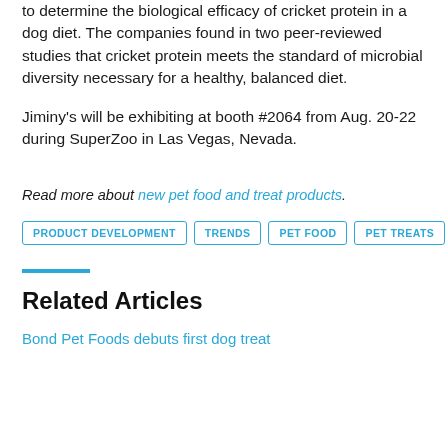to determine the biological efficacy of cricket protein in a dog diet. The companies found in two peer-reviewed studies that cricket protein meets the standard of microbial diversity necessary for a healthy, balanced diet.
Jiminy's will be exhibiting at booth #2064 from Aug. 20-22 during SuperZoo in Las Vegas, Nevada.
Read more about new pet food and treat products.
PRODUCT DEVELOPMENT
TRENDS
PET FOOD
PET TREATS
Related Articles
Bond Pet Foods debuts first dog treat